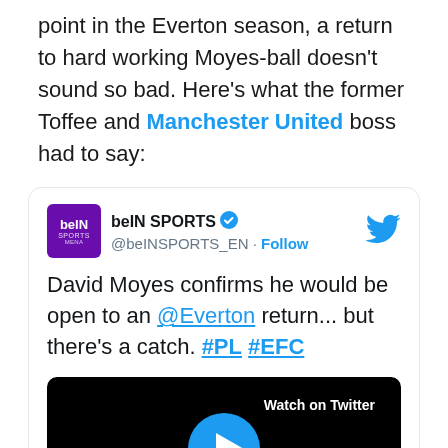point in the Everton season, a return to hard working Moyes-ball doesn't sound so bad. Here's what the former Toffee and Manchester United boss had to say:
[Figure (screenshot): Embedded tweet from @beINSPORTS_EN (beIN SPORTS) with verified badge. Tweet text: 'David Moyes confirms he would be open to an @Everton return... but there's a catch. #PL #EFC'. Includes a video thumbnail with 'Watch on Twitter' button and a play button.]